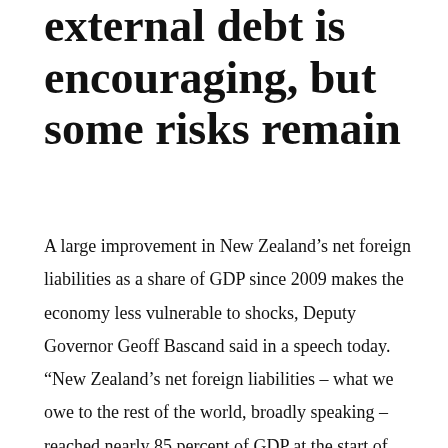external debt is encouraging, but some risks remain
A large improvement in New Zealand’s net foreign liabilities as a share of GDP since 2009 makes the economy less vulnerable to shocks, Deputy Governor Geoff Bascand said in a speech today. “New Zealand’s net foreign liabilities – what we owe to the rest of the world, broadly speaking – reached nearly 85 percent of GDP at the start of 2009 but now they are down to 58.5 percent of GDP, their lowest level since the late-1980s,” Mr Bascand said. “New Zealand has become less reliant on offshore funding over the past decade, and the maturity of bank